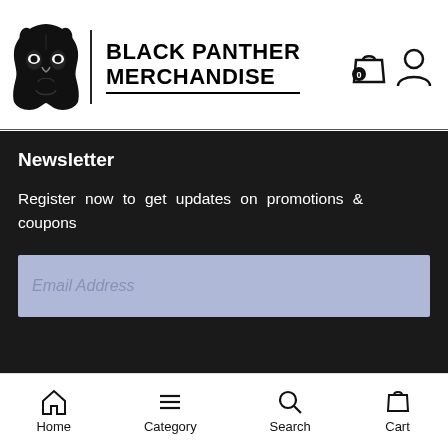[Figure (logo): Black Panther Merchandise logo with panther mask icon and bold text]
Newsletter
Register now to get updates on promotions & coupons
[Figure (screenshot): Email Address input field with light blue/lavender background]
Subscribe
Home   Category   Search   Cart